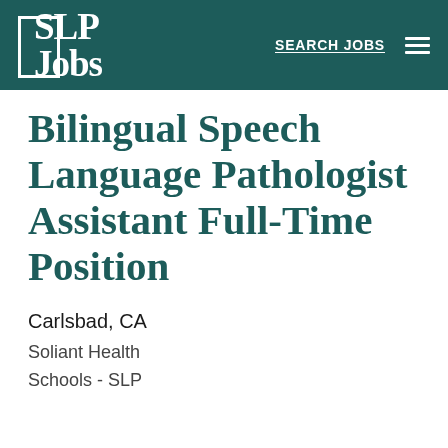[Figure (logo): SLP Jobs website logo — white text on dark teal background with partial rectangle border outline around initials, showing 'SLP Jobs' in large serif bold font. Navigation shows 'SEARCH JOBS' link and hamburger menu icon.]
Bilingual Speech Language Pathologist Assistant Full-Time Position
Carlsbad, CA
Soliant Health
Schools - SLP